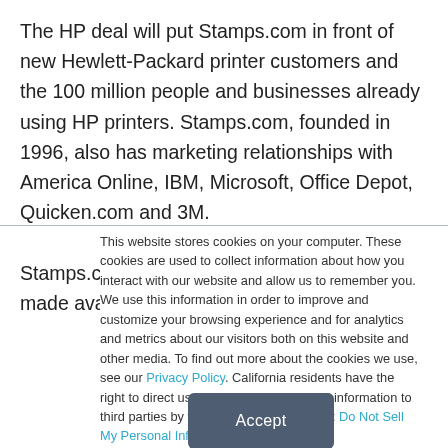The HP deal will put Stamps.com in front of new Hewlett-Packard printer customers and the 100 million people and businesses already using HP printers. Stamps.com, founded in 1996, also has marketing relationships with America Online, IBM, Microsoft, Office Depot, Quicken.com and 3M.

Stamps.com's Internet Postage service will be made available
This website stores cookies on your computer. These cookies are used to collect information about how you interact with our website and allow us to remember you. We use this information in order to improve and customize your browsing experience and for analytics and metrics about our visitors both on this website and other media. To find out more about the cookies we use, see our Privacy Policy. California residents have the right to direct us not to sell their personal information to third parties by filing an Opt-Out Request: Do Not Sell My Personal Info.